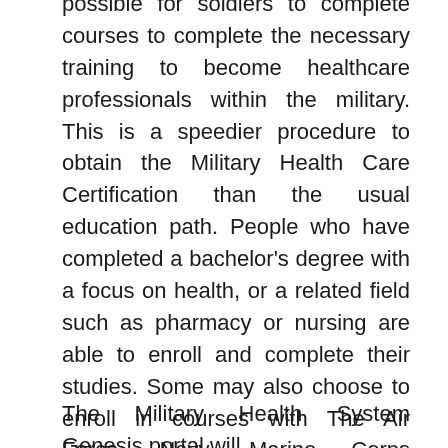possible for soldiers to complete courses to complete the necessary training to become healthcare professionals within the military. This is a speedier procedure to obtain the Military Health Care Certification than the usual education path. People who have completed a bachelor's degree with a focus on health, or a related field such as pharmacy or nursing are able to enroll and complete their studies. Some may also choose to enroll in courses with The Air Force, Navy, Marine Corps Recruiting Station or the National Military Family Association.
The Military Health System Genesis portal will